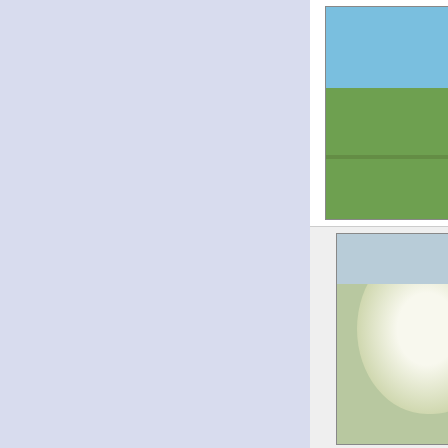[Figure (photo): Landscape photo showing green fields under blue sky near Southwell, Dorset]
Southwell by Becky Whi... geograph for square SY6
Many a rare bird has turned up
When I visited I went to see the
Tags: Bushes   top: Coastal
county: Dorset x
top: Farm, Fishery, Market G
subject: Field x   Field x   type:
top: Islands x   Isle of Portla
[Figure (photo): Photo of a hawthorn bush in bloom with white flowers, with a building visible behind, for square TQ6248]
Hawthorn bush by Thre
by David Howard
for square TQ6248
As there was a pole in the midd
get either side rather than... (m
Tags: subject: Bush x   type:
top: Roads, Road Transport
top: Village, Rural Settleme
top: Wild Animals, Plants an
Bush by the bridleway n
Barford St Martin by De
geograph for square SUC